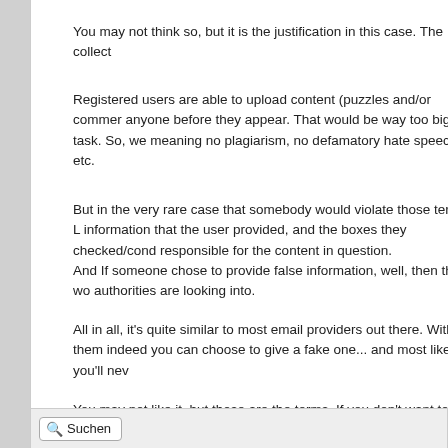You may not think so, but it is the justification in this case. The collect
Registered users are able to upload content (puzzles and/or commer anyone before they appear. That would be way too big a task. So, we meaning no plagiarism, no defamatory hate speech, etc.
But in the very rare case that somebody would violate those terms, L information that the user provided, and the boxes they checked/cond responsible for the content in question.
And If someone chose to provide false information, well, then that wo authorities are looking into.
All in all, it's quite similar to most email providers out there. With them indeed you can choose to give a fake one... and most likely you'll nev
You may not like it, but those are the terms. If you don't want to regist registering you can still enjoy solving the puzzles other people do upl registered user.
Suchen